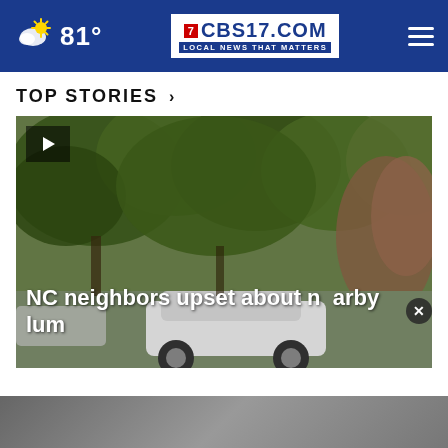81° | CBS17.COM LOCAL NEWS THAT MATTERS
TOP STORIES ›
[Figure (screenshot): Video thumbnail showing a residential street with large green trees and a white car parked, with a play button overlay in the top left corner]
NC neighbors upset about nearby lum...
[Figure (infographic): Ting advertisement banner: 'ting We all deserve a perfect match' with LEARN MORE button and close X button]